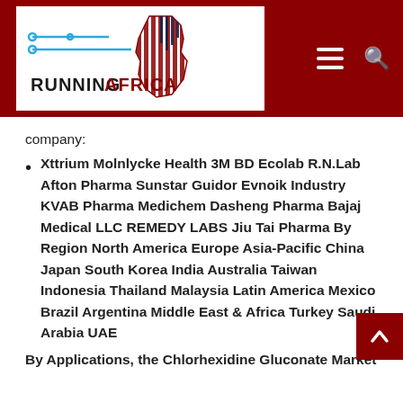[Figure (logo): Running Africa logo with blue circuit lines on left, Africa continent silhouette with red vertical bars on right, text RUNNING in black and AFRICA in red below]
company:
Xttrium Molnlycke Health 3M BD Ecolab R.N.Lab Afton Pharma Sunstar Guidor Evnoik Industry KVAB Pharma Medichem Dasheng Pharma Bajaj Medical LLC REMEDY LABS Jiu Tai Pharma By Region North America Europe Asia-Pacific China Japan South Korea India Australia Taiwan Indonesia Thailand Malaysia Latin America Mexico Brazil Argentina Middle East & Africa Turkey Saudi Arabia UAE
By Applications, the Chlorhexidine Gluconate Market